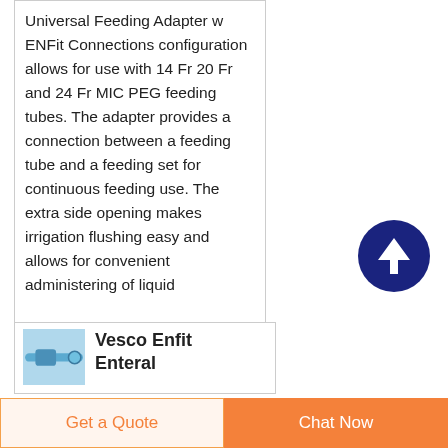Universal Feeding Adapter w ENFit Connections configuration allows for use with 14 Fr 20 Fr and 24 Fr MIC PEG feeding tubes. The adapter provides a connection between a feeding tube and a feeding set for continuous feeding use. The extra side opening makes irrigation flushing easy and allows for convenient administering of liquid
[Figure (illustration): Dark navy blue circle with a white upward arrow icon, acting as a scroll-to-top button]
[Figure (photo): Small product thumbnail image on blue/teal background showing a feeding adapter connector]
Vesco Enfit Enteral
Get a Quote
Chat Now